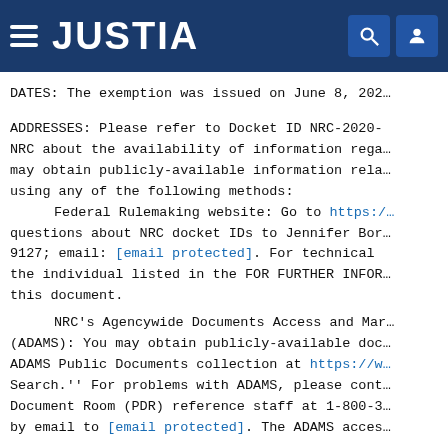JUSTIA
DATES: The exemption was issued on June 8, 202…
ADDRESSES: Please refer to Docket ID NRC-2020- NRC about the availability of information rega… may obtain publicly-available information rela… using any of the following methods:
Federal Rulemaking website: Go to https:/… questions about NRC docket IDs to Jennifer Bor… 9127; email: [email protected]. For technical… the individual listed in the FOR FURTHER INFOR… this document.
NRC's Agencywide Documents Access and Mar… (ADAMS): You may obtain publicly-available doc… ADAMS Public Documents collection at https://w… Search.'' For problems with ADAMS, please cont… Document Room (PDR) reference staff at 1-800-3… by email to [email protected]. The ADAMS acces…